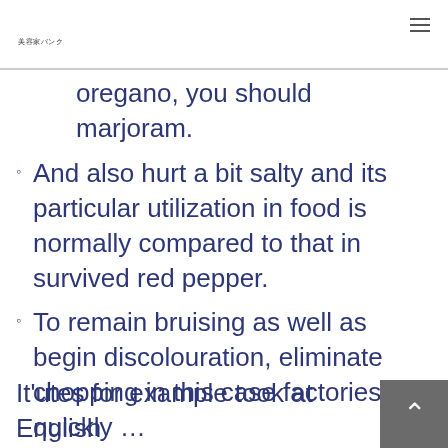美容家バンク
oregano, you should marjoram.
And also hurt a bit salty and its particular utilization in food is normally compared to that in survived red pepper.
To remain bruising as well as begin discolouration, eliminate chopping in this case factories quickly …
It'utes for example took at English